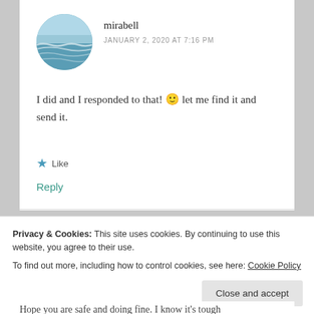[Figure (photo): Circular avatar showing an ocean/seascape with blue-green water and waves]
mirabell
JANUARY 2, 2020 AT 7:16 PM
I did and I responded to that! 🙂 let me find it and send it.
★ Like
Reply
Privacy & Cookies: This site uses cookies. By continuing to use this website, you agree to their use.
To find out more, including how to control cookies, see here: Cookie Policy
Close and accept
Hope you are safe and doing fine. I know it's tough